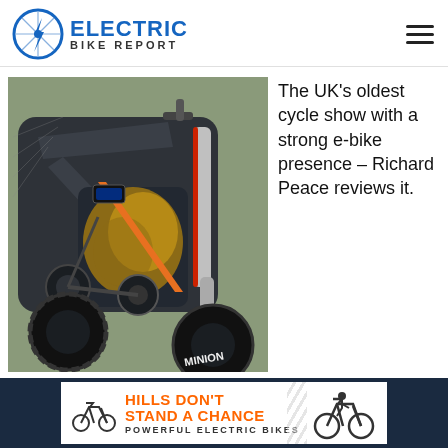[Figure (logo): Electric Bike Report logo with bicycle wheel icon and lightning bolt, blue and dark text]
[Figure (photo): Close-up photo of a dark grey and orange full-suspension electric mountain bike frame with Minion tire, displayed at a cycle show]
The UK's oldest cycle show with a strong e-bike presence – Richard Peace reviews it.
[Figure (infographic): Advertisement banner reading 'HILLS DON'T STAND A CHANCE' in orange bold text, 'POWERFUL ELECTRIC BIKES' in dark text, with two bicycle silhouettes, on white background flanked by dark navy panels]